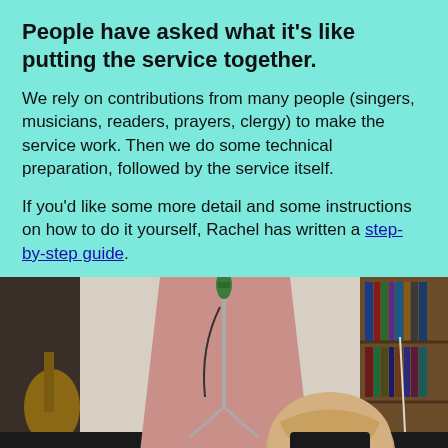People have asked what it's like putting the service together.
We rely on contributions from many people (singers, musicians, readers, prayers, clergy) to make the service work. Then we do some technical preparation, followed by the service itself.
If you'd like some more detail and some instructions on how to do it yourself, Rachel has written a step-by-step guide.
[Figure (photo): Indoor photo showing a microphone stand with a pink/mauve drape behind it, a guitar visible on the left, bookshelves on the right, and a person with blonde hair seen from behind seated in the foreground.]